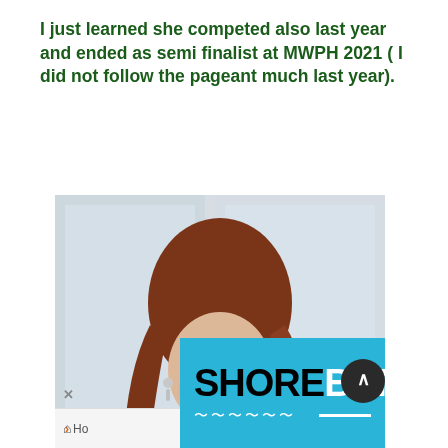I just learned she competed also last year and ended as semi finalist at MWPH 2021 ( I did not follow the pageant much last year).
[Figure (photo): A woman in a floral bikini top and blue skirt wearing a number 14 competition badge, posing for a pageant photo. Overlaid at the bottom with a SHORE BCN banner logo in cyan/teal background with black and white text.]